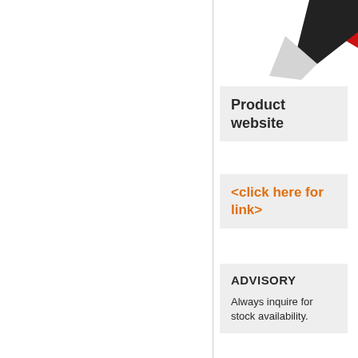[Figure (illustration): Product image showing a box/package with red and black geometric shapes on white background, partially cropped at top right]
Product website
<click here for link>
ADVISORY
Always inquire for stock availability.